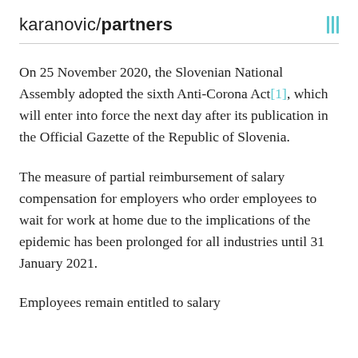karanovic/partners
On 25 November 2020, the Slovenian National Assembly adopted the sixth Anti-Corona Act[1], which will enter into force the next day after its publication in the Official Gazette of the Republic of Slovenia.
The measure of partial reimbursement of salary compensation for employers who order employees to wait for work at home due to the implications of the epidemic has been prolonged for all industries until 31 January 2021.
Employees remain entitled to salary